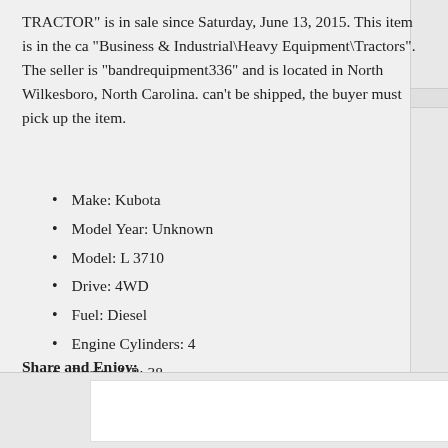TRACTOR” is in sale since Saturday, June 13, 2015. This item is in the ca “Business & Industrial\Heavy Equipment\Tractors”. The seller is “bandrequipment336” and is located in North Wilkesboro, North Carolina. can’t be shipped, the buyer must pick up the item.
Make: Kubota
Model Year: Unknown
Model: L 3710
Drive: 4WD
Fuel: Diesel
Engine Cylinders: 4
Engine HP: 38
Transmission: Manual
HOURS: 1899
Share and Enjoy: